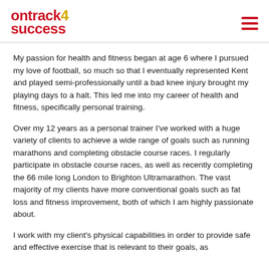ontrack4success
My passion for health and fitness began at age 6 where I pursued my love of football, so much so that I eventually represented Kent and played semi-professionally until a bad knee injury brought my playing days to a halt. This led me into my career of health and fitness, specifically personal training.
Over my 12 years as a personal trainer I've worked with a huge variety of clients to achieve a wide range of goals such as running marathons and completing obstacle course races. I regularly participate in obstacle course races, as well as recently completing the 66 mile long London to Brighton Ultramarathon. The vast majority of my clients have more conventional goals such as fat loss and fitness improvement, both of which I am highly passionate about.
I work with my client's physical capabilities in order to provide safe and effective exercise that is relevant to their goals, as